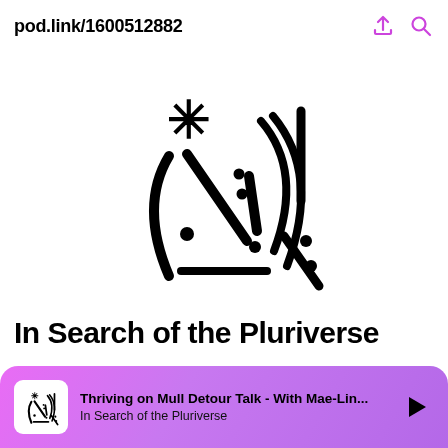pod.link/1600512882
[Figure (logo): Abstract podcast logo with asterisk, lines, dots, parentheses and exclamation marks forming a stylized graphic mark in black on white background]
In Search of the Pluriverse
Thriving on Mull Detour Talk - With Mae-Lin... In Search of the Pluriverse